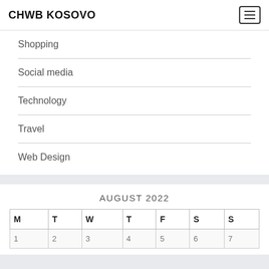CHWB KOSOVO
Shopping
Social media
Technology
Travel
Web Design
AUGUST 2022
| M | T | W | T | F | S | S |
| --- | --- | --- | --- | --- | --- | --- |
| 1 | 2 | 3 | 4 | 5 | 6 | 7 |